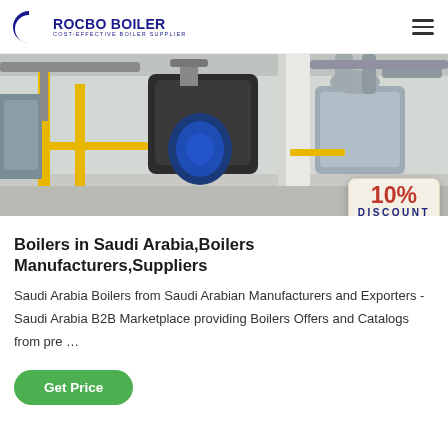ROCBO BOILER — COST-EFFECTIVE BOILER SUPPLIER
[Figure (photo): Industrial boiler room with large blue/black boiler units, yellow structural supports, and silver insulated pipes. A 10% DISCOUNT badge overlaid on the bottom-right corner.]
Boilers in Saudi Arabia,Boilers Manufacturers,Suppliers
Saudi Arabia Boilers from Saudi Arabian Manufacturers and Exporters - Saudi Arabia B2B Marketplace providing Boilers Offers and Catalogs from pre …
Get Price